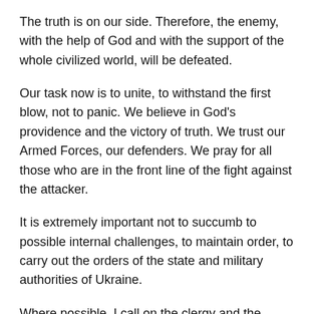The truth is on our side. Therefore, the enemy, with the help of God and with the support of the whole civilized world, will be defeated.
Our task now is to unite, to withstand the first blow, not to panic. We believe in God's providence and the victory of truth. We trust our Armed Forces, our defenders. We pray for all those who are in the front line of the fight against the attacker.
It is extremely important not to succumb to possible internal challenges, to maintain order, to carry out the orders of the state and military authorities of Ukraine.
Where possible, I call on the clergy and the faithful to regularly offer their prayers for Ukraine, for victory, for our soldiers. I bless you to pray with the Akathist Hymn for the